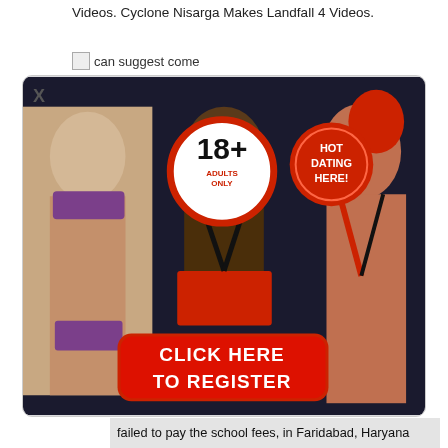Videos. Cyclone Nisarga Makes Landfall 4 Videos.
[Figure (other): Broken image placeholder with text 'can suggest come']
[Figure (other): Adult dating advertisement banner with three women, 18+ Adults Only badge, HOT DATING HERE! badge, and a red CLICK HERE TO REGISTER button]
failed to pay the school fees, in Faridabad, Haryana This little contestant's dress and hair are adorable. Mostly. The ringlets covering her forehead aren't well-formed. She looks frightened, with those huge eyes lined all the way around with black eyeliner. (Why anyone thought